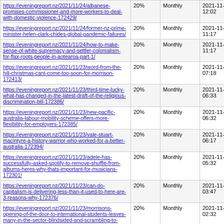| URL | Coverage | Frequency | Last Crawl |
| --- | --- | --- | --- |
| https://eveningreport.nz/2021/11/24/albanese-promises-commissioner-and-more-workers-to-deal-with-domestic-violence-172429/ | 20% | Monthly | 2021-11-23 12:02 |
| https://eveningreport.nz/2021/11/24/former-nz-prime-minister-helen-clark-chides-global-pandemic-failures/ | 20% | Monthly | 2021-11-23 11:17 |
| https://eveningreport.nz/2021/11/24/how-to-make-sense-of-white-supremacy-and-settler-colonialism-for-flax-roots-people-in-aotearoa-part-1/ | 20% | Monthly | 2021-11-23 11:17 |
| https://eveningreport.nz/2021/11/23/word-from-the-hill-christmas-cant-come-too-soon-for-morrison-172413/ | 20% | Monthly | 2021-11-23 07:18 |
| https://eveningreport.nz/2021/11/23/third-time-lucky-what-has-changed-in-the-latest-draft-of-the-religious-discrimination-bill-172386/ | 20% | Monthly | 2021-11-23 06:33 |
| https://eveningreport.nz/2021/11/23/new-pacific-australia-labour-mobility-scheme-offers-more-flexibility-for-employers-172385/ | 20% | Monthly | 2021-11-23 06:32 |
| https://eveningreport.nz/2021/11/23/vale-stuart-macintyre-a-history-warrior-who-worked-for-a-better-australia-172394/ | 20% | Monthly | 2021-11-23 06:17 |
| https://eveningreport.nz/2021/11/23/adele-has-successfully-asked-spotify-to-remove-shuffle-from-albums-heres-why-thats-important-for-musicians-172301/ | 20% | Monthly | 2021-11-23 05:32 |
| https://eveningreport.nz/2021/11/23/can-do-capitalism-is-delivering-less-than-it-used-to-here-are-3-reasons-why-172376/ | 20% | Monthly | 2021-11-23 03:47 |
| https://eveningreport.nz/2021/11/23/morrisons-opening-of-the-door-to-international-students-leaves-many-in-the-sector-blindsided-and-scrambling-to-catch-up-172382/ | 20% | Monthly | 2021-11-23 02:32 |
| https://eveningreport.nz/2021/11/23/venezuelas- | 20% | Monthly | 2021-11-23 |